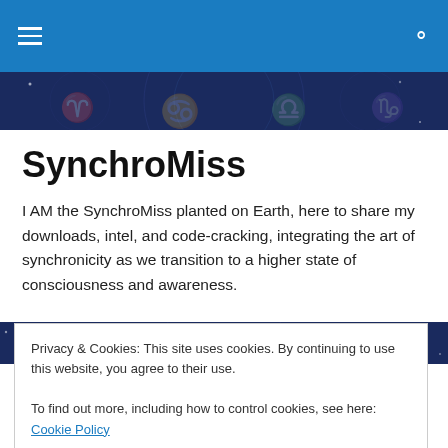SynchroMiss — navigation bar with hamburger menu and search icon
[Figure (photo): Dark blue decorative hero strip with faint zodiac/astrological symbols]
SynchroMiss
I AM the SynchroMiss planted on Earth, here to share my downloads, intel, and code-cracking, integrating the art of synchronicity as we transition to a higher state of consciousness and awareness.
[Figure (photo): Second dark blue decorative strip with faint astrological symbols]
TAGGED WITH FREE THE HOOVED ANIMALS
ISTAN(D)WITH THE)BUL(L)
Privacy & Cookies: This site uses cookies. By continuing to use this website, you agree to their use.
To find out more, including how to control cookies, see here: Cookie Policy
Close and accept